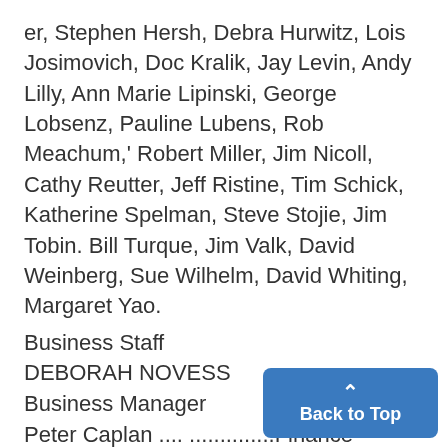er, Stephen Hersh, Debra Hurwitz, Lois Josimovich, Doc Kralik, Jay Levin, Andy Lilly, Ann Marie Lipinski, George Lobsenz, Pauline Lubens, Rob Meachum,' Robert Miller, Jim Nicoll, Cathy Reutter, Jeff Ristine, Tim Schick, Katherine Spelman, Steve Stojie, Jim Tobin. Bill Turque, Jim Valk, David Weinberg, Sue Wilhelm, David Whiting, Margaret Yao.
Business Staff
DEBORAH NOVESS
Business Manager
Peter Caplan .... ..............Finance
Robert F. Cerra..........Operations Manager